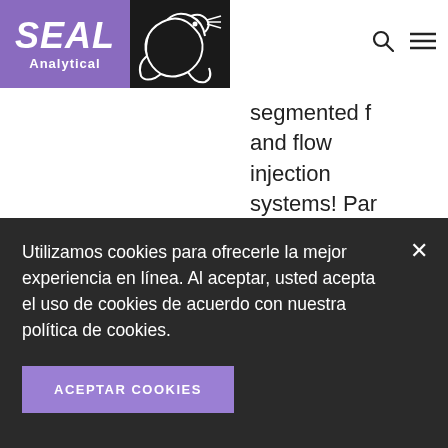[Figure (logo): SEAL Analytical logo with purple background text and black background seal illustration]
segmented f and flow injection systems! Part one of this series will discuss the basics of
Utilizamos cookies para ofrecerle la mejor experiencia en línea. Al aceptar, usted acepta el uso de cookies de acuerdo con nuestra política de cookies.
ACEPTAR COOKIES